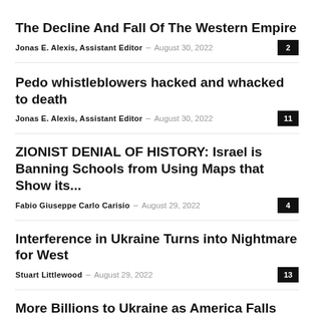The Decline And Fall Of The Western Empire
Jonas E. Alexis, Assistant Editor – August 30, 2022  2
Pedo whistleblowers hacked and whacked to death
Jonas E. Alexis, Assistant Editor – August 30, 2022  11
ZIONIST DENIAL OF HISTORY: Israel is Banning Schools from Using Maps that Show its...
Fabio Giuseppe Carlo Carisio – August 29, 2022  4
Interference in Ukraine Turns into Nightmare for West
Stuart Littlewood – August 29, 2022  13
More Billions to Ukraine as America Falls Apart
Jonas E. Alexis, Assistant Editor – August 29, 2022  6